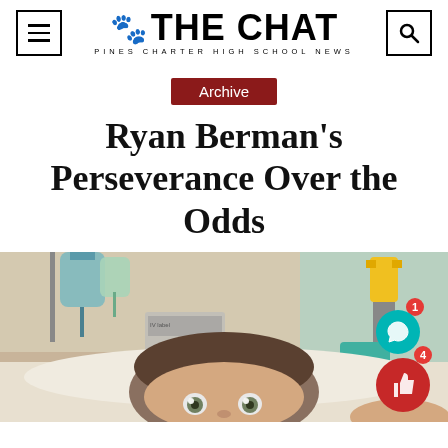THE CHAT — PINES CHARTER HIGH SCHOOL NEWS
Archive
Ryan Berman's Perseverance Over the Odds
[Figure (photo): A young person lying in a hospital bed, looking up at the camera. Medical equipment including IV bags and hospital fixtures visible in the background.]